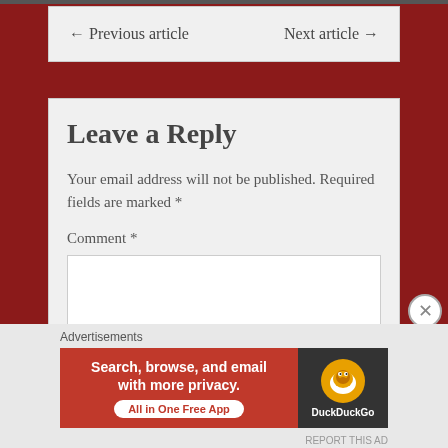← Previous article    Next article →
Leave a Reply
Your email address will not be published. Required fields are marked *
Comment *
Advertisements
[Figure (infographic): DuckDuckGo advertisement banner: 'Search, browse, and email with more privacy. All in One Free App' with DuckDuckGo logo on dark background.]